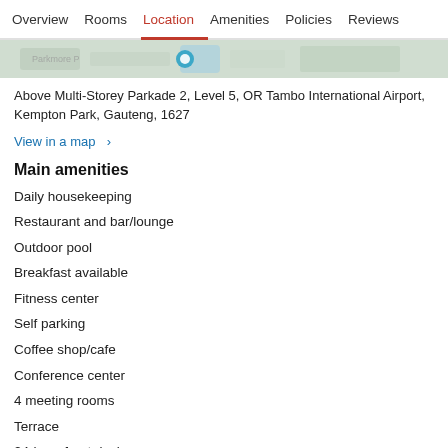Overview  Rooms  Location  Amenities  Policies  Reviews
[Figure (photo): Partial map image strip showing a map view of the hotel location]
Above Multi-Storey Parkade 2, Level 5, OR Tambo International Airport, Kempton Park, Gauteng, 1627
View in a map  >
Main amenities
Daily housekeeping
Restaurant and bar/lounge
Outdoor pool
Breakfast available
Fitness center
Self parking
Coffee shop/cafe
Conference center
4 meeting rooms
Terrace
24-hour front desk